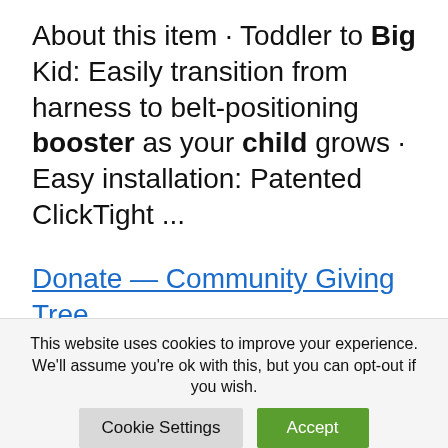About this item · Toddler to Big Kid: Easily transition from harness to belt-positioning booster as your child grows · Easy installation: Patented ClickTight ...
Donate — Community Giving Tree
COnvertible Car Seats (manufacture date under 5yrs & not in accident) ... Use our Amazon Wishlist to have diapers sent directly to Community
This website uses cookies to improve your experience. We'll assume you're ok with this, but you can opt-out if you wish.